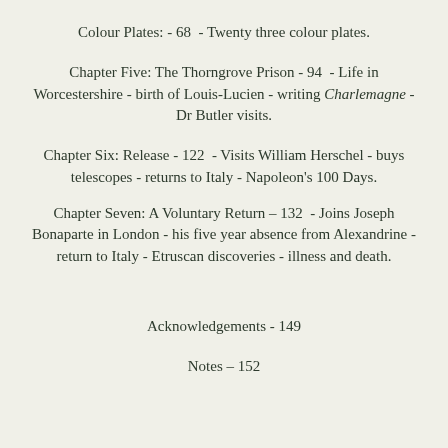Colour Plates: - 68 - Twenty three colour plates.
Chapter Five: The Thorngrove Prison - 94 - Life in Worcestershire - birth of Louis-Lucien - writing Charlemagne - Dr Butler visits.
Chapter Six: Release - 122 - Visits William Herschel - buys telescopes - returns to Italy - Napoleon's 100 Days.
Chapter Seven: A Voluntary Return - 132 - Joins Joseph Bonaparte in London - his five year absence from Alexandrine - return to Italy - Etruscan discoveries - illness and death.
Acknowledgements - 149
Notes – 152